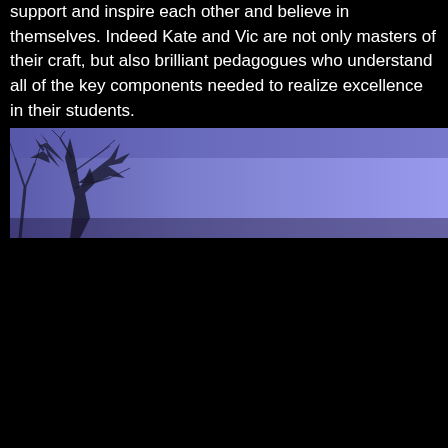support and inspire each other and believe in themselves. Indeed Kate and Vic are not only masters of their craft, but also brilliant pedagogues who understand all of the key components needed to realize excellence in their students.
[Figure (photo): A wide horizontal photograph showing bare winter tree branches silhouetted against a blue-to-purple gradient sky background.]